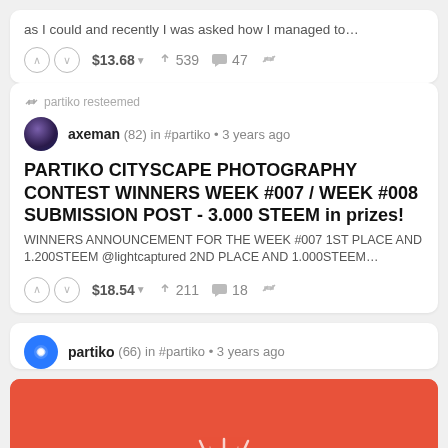as I could and recently I was asked how I managed to…
$13.68 ▾  ↑ 539  💬 47
partiko resteemed
axeman (82) in #partiko • 3 years ago
PARTIKO CITYSCAPE PHOTOGRAPHY CONTEST WINNERS WEEK #007 / WEEK #008 SUBMISSION POST - 3.000 STEEM in prizes!
WINNERS ANNOUNCEMENT FOR THE WEEK #007 1ST PLACE AND 1.200STEEM @lightcaptured 2ND PLACE AND 1.000STEEM…
$18.54 ▾  ↑ 211  💬 18
partiko (66) in #partiko • 3 years ago
[Figure (illustration): Coral/red background with white burst/sparkle lines radiating from center bottom, decorative celebration graphic]